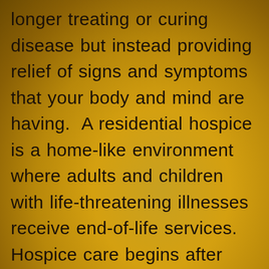longer treating or curing disease but instead providing relief of signs and symptoms that your body and mind are having.  A residential hospice is a home-like environment where adults and children with life-threatening illnesses receive end-of-life services.  Hospice care begins after treatment of the disease is